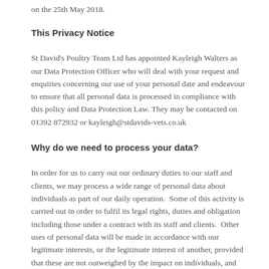on the 25th May 2018.
This Privacy Notice
St David's Poultry Team Ltd has appointed Kayleigh Walters as our Data Protection Officer who will deal with your request and enquiries concerning our use of your personal date and endeavour to ensure that all personal data is processed in compliance with this policy and Data Protection Law. They may be contacted on 01392 872932 or kayleigh@stdavids-vets.co.uk
Why do we need to process your data?
In order for us to carry out our ordinary duties to our staff and clients, we may process a wide range of personal data about individuals as part of our daily operation. Some of this activity is carried out in order to fulfil its legal rights, duties and obligation including those under a contract with its staff and clients. Other uses of personal data will be made in accordance with our legitimate interests, or the legitimate interest of another, provided that these are not outweighed by the impact on individuals, and provide it does